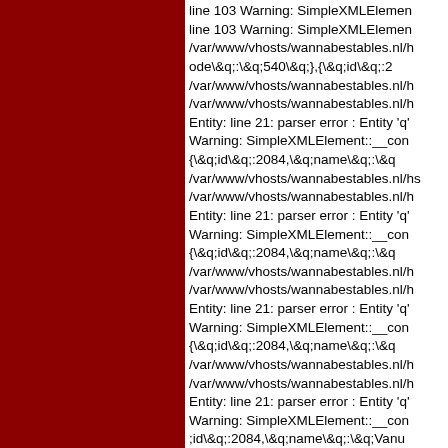[Figure (other): Dark red/maroon colored left panel background]
line 103 Warning: SimpleXMLElemen
line 103 Warning: SimpleXMLElemen
/var/www/vhosts/wannabestables.nl/h
ode\&q;:\&q;540\&q;},{\&q;id\&q;:2
/var/www/vhosts/wannabestables.nl/h
/var/www/vhosts/wannabestables.nl/h
Entity: line 21: parser error : Entity 'q'
Warning: SimpleXMLElement::__con
{\&q;id\&q;:2084,\&q;name\&q;:\&q
/var/www/vhosts/wannabestables.nl/hs
/var/www/vhosts/wannabestables.nl/h
Entity: line 21: parser error : Entity 'q'
Warning: SimpleXMLElement::__con
{\&q;id\&q;:2084,\&q;name\&q;:\&q
/var/www/vhosts/wannabestables.nl/h
/var/www/vhosts/wannabestables.nl/h
Entity: line 21: parser error : Entity 'q'
Warning: SimpleXMLElement::__con
{\&q;id\&q;:2084,\&q;name\&q;:\&q
/var/www/vhosts/wannabestables.nl/h
/var/www/vhosts/wannabestables.nl/h
Entity: line 21: parser error : Entity 'q'
Warning: SimpleXMLElement::__con
;id\&q;:2084,\&q;name\&q;:\&q;Vanu
/var/www/vhosts/wannabestables.nl/h